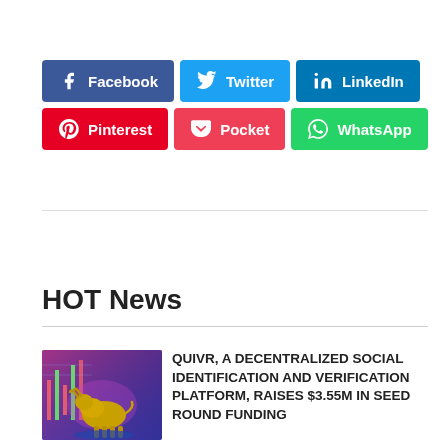[Figure (infographic): Social media share buttons: Facebook (dark blue), Twitter (light blue), LinkedIn (dark blue), Pinterest (red), Pocket (red-pink), WhatsApp (green)]
HOT News
[Figure (photo): Financial market image showing a golden bull statue with stock chart candlesticks in background, colorful lighting]
QUIVR, A DECENTRALIZED SOCIAL IDENTIFICATION AND VERIFICATION PLATFORM, RAISES $3.55M IN SEED ROUND FUNDING